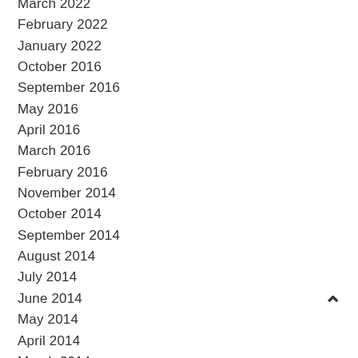March 2022
February 2022
January 2022
October 2016
September 2016
May 2016
April 2016
March 2016
February 2016
November 2014
October 2014
September 2014
August 2014
July 2014
June 2014
May 2014
April 2014
March 2014
February 2014